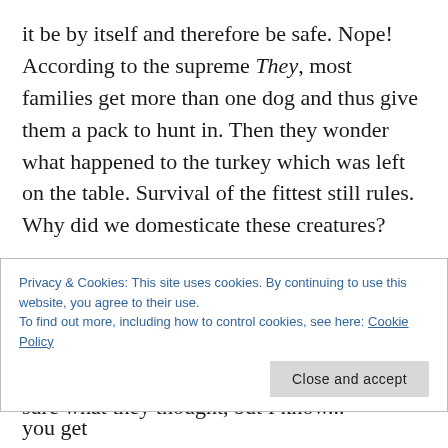it be by itself and therefore be safe. Nope! According to the supreme They, most families get more than one dog and thus give them a pack to hunt in. Then they wonder what happened to the turkey which was left on the table. Survival of the fittest still rules. Why did we domesticate these creatures?
I wish I was around when that deal was being made. Can't you just see a large mahogany table with wolves on one side and men on the other? Not being a speaker of Wolf I'm not sure what they thought, but I know...
Privacy & Cookies: This site uses cookies. By continuing to use this website, you agree to their use.
To find out more, including how to control cookies, see here: Cookie Policy
round your neck and strangle you every time you get